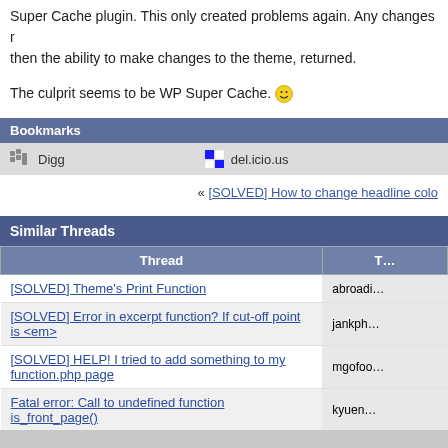Super Cache plugin. This only created problems again. Any changes required then the ability to make changes to the theme, returned.
The culprit seems to be WP Super Cache. 🙂
Bookmarks
Digg   del.icio.us
« [SOLVED] How to change headline colo…
Similar Threads
| Thread | T… |
| --- | --- |
| [SOLVED] Theme's Print Function | abroadi… |
| [SOLVED] Error in excerpt function? If cut-off point is &lt;em&gt; | jankph… |
| [SOLVED] HELP! I tried to add something to my function.php page | mgofoo… |
| Fatal error: Call to undefined function is_front_page() | kyuen… |
| All supplied graphics disappeared. Huge thanks from a Newbie for your help. | tpatpa… |
All times are G…